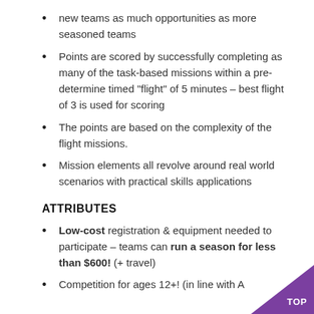new teams as much opportunities as more seasoned teams
Points are scored by successfully completing as many of the task-based missions within a pre-determine timed "flight" of 5 minutes – best flight of 3 is used for scoring
The points are based on the complexity of the flight missions.
Mission elements all revolve around real world scenarios with practical skills applications
ATTRIBUTES
Low-cost registration & equipment needed to participate – teams can run a season for less than $600!  (+ travel)
Competition for ages 12+!  (in line with A…